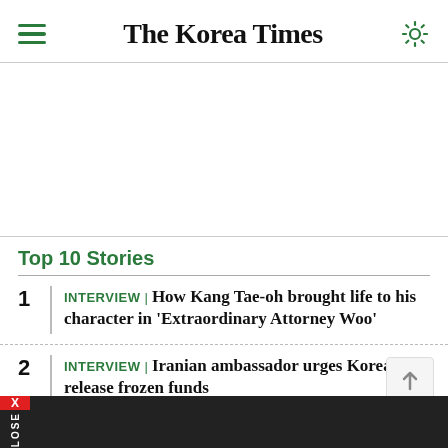The Korea Times
[Figure (other): Advertisement banner area (blank white space)]
Top 10 Stories
INTERVIEW | How Kang Tae-oh brought life to his character in 'Extraordinary Attorney Woo'
INTERVIEW | Iranian ambassador urges Korea to release frozen funds
Author of book adapted into hit TV series